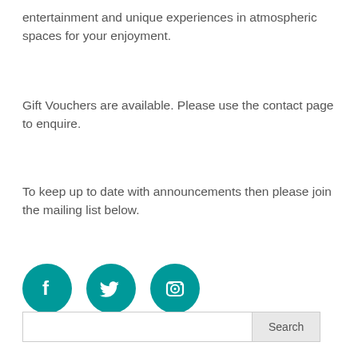entertainment and unique experiences in atmospheric spaces for your enjoyment.
Gift Vouchers are available. Please use the contact page to enquire.
To keep up to date with announcements then please join the mailing list below.
[Figure (infographic): Three teal circular social media icons: Facebook (f), Twitter (bird), Instagram (camera)]
[Figure (other): Search bar with text input field and Search button]